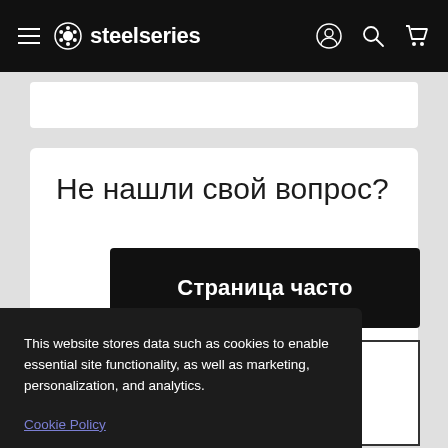steelseries
Не нашли свой вопрос?
Страница часто
This website stores data such as cookies to enable essential site functionality, as well as marketing, personalization, and analytics.
Cookie Policy
Accept
Deny